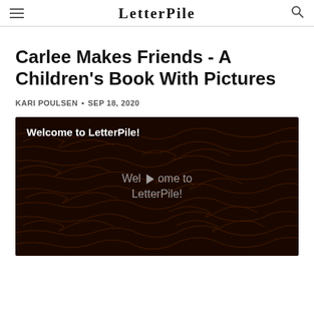LetterPile
Carlee Makes Friends - A Children's Book With Pictures
KARI POULSEN • SEP 18, 2020
[Figure (screenshot): Video thumbnail with dark background featuring handwritten script text overlay. Top-left shows white text 'Welcome to LetterPile!' and center shows semi-transparent text 'Welcome to LetterPile!' with a play button triangle icon.]